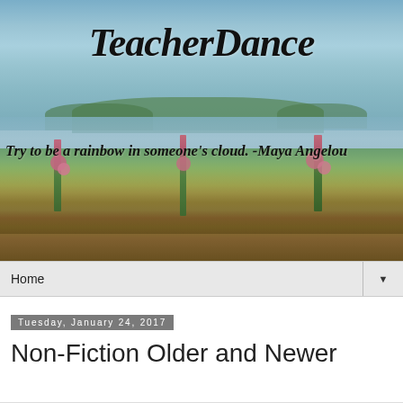[Figure (photo): Outdoor nature photo of a pond or lake with water reflections of sky and clouds, green trees in the distance, and tall grasses and pink wildflowers in the foreground. Overlaid with the blog title 'TeacherDance' in large italic script font, and a tagline 'Try to be a rainbow in someone's cloud. -Maya Angelou' in italic script.]
Home ▼
Tuesday, January 24, 2017
Non-Fiction Older and Newer